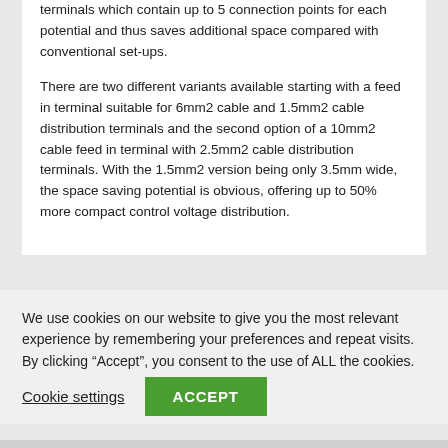terminals which contain up to 5 connection points for each potential and thus saves additional space compared with conventional set-ups.
There are two different variants available starting with a feed in terminal suitable for 6mm2 cable and 1.5mm2 cable distribution terminals and the second option of a 10mm2 cable feed in terminal with 2.5mm2 cable distribution terminals. With the 1.5mm2 version being only 3.5mm wide, the space saving potential is obvious, offering up to 50% more compact control voltage distribution.
We use cookies on our website to give you the most relevant experience by remembering your preferences and repeat visits. By clicking “Accept”, you consent to the use of ALL the cookies.
Cookie settings
ACCEPT